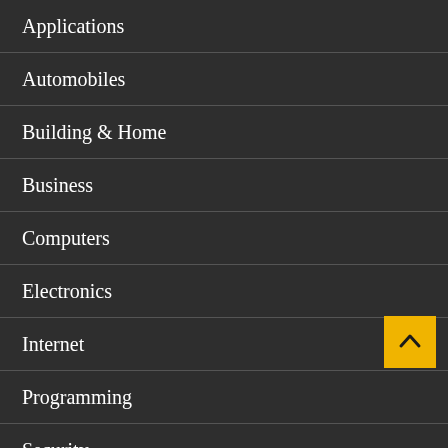Applications
Automobiles
Building & Home
Business
Computers
Electronics
Internet
Programming
Security
Service & Commerce